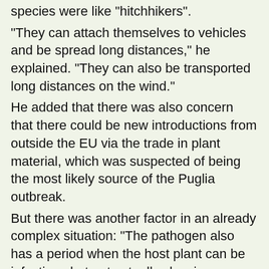species were like "hitchhikers".
"They can attach themselves to vehicles and be spread long distances," he explained. "They can also be transported long distances on the wind."
He added that there was also concern that there could be new introductions from outside the EU via the trade in plant material, which was suspected of being the most likely source of the Puglia outbreak.
But there was another factor in an already complex situation: "The pathogen also has a period when the host plant can be infectious but not actually showing symptoms, making it very difficult to detect.
"So there is a high chance that it could come over the border and not be noticed."
In terms of controlling the pathogen's spread, Dr Parnell said methods that worked to control outbreaks in the Americas probably would not be as effective in Europe.